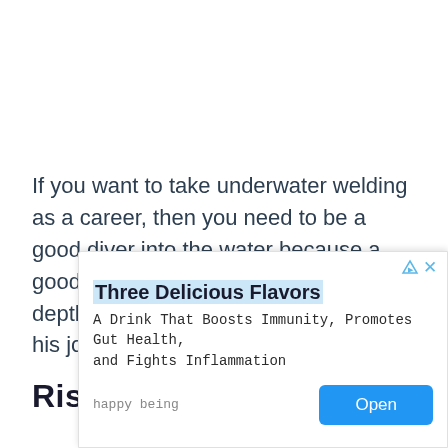If you want to take underwater welding as a career, then you need to be a good diver into the water because a good diver can reach the place in the depth of water and can comfortably do his job.
Risks In Underwater...
[Figure (other): Advertisement overlay: 'Three Delicious Flavors' - A Drink That Boosts Immunity, Promotes Gut Health, and Fights Inflammation. Source: happy being. Open button.]